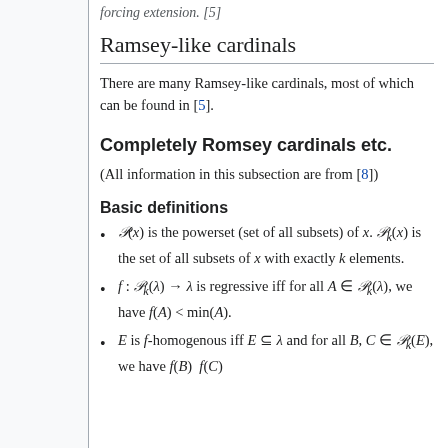forcing extension. [5]
Ramsey-like cardinals
There are many Ramsey-like cardinals, most of which can be found in [5].
Completely Romsey cardinals etc.
(All information in this subsection are from [8])
Basic definitions
P(x) is the powerset (set of all subsets) of x. P_k(x) is the set of all subsets of x with exactly k elements.
f : P_k(λ) → λ is regressive iff for all A ∈ P_k(λ), we have f(A) < min(A).
E is f-homogenous iff E ⊆ λ and for all B, C ∈ P_k(E), we have f(B) = f(C).